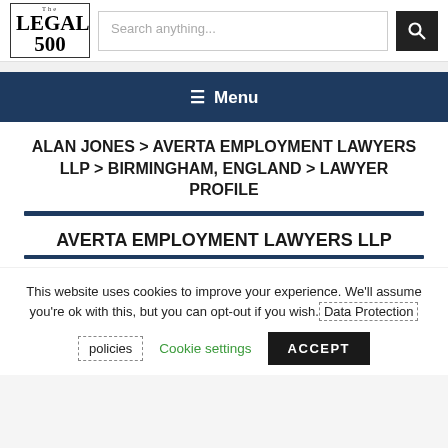[Figure (logo): The Legal 500 logo - serif font with 'THE LEGAL 500' stacked text in bold]
Search anything...
≡ Menu
ALAN JONES > AVERTA EMPLOYMENT LAWYERS LLP > BIRMINGHAM, ENGLAND > LAWYER PROFILE
AVERTA EMPLOYMENT LAWYERS LLP
This website uses cookies to improve your experience. We'll assume you're ok with this, but you can opt-out if you wish. Data Protection policies
Cookie settings
ACCEPT